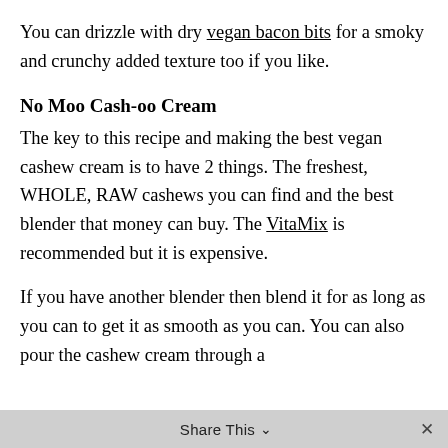You can drizzle with dry vegan bacon bits for a smoky and crunchy added texture too if you like.
No Moo Cash-oo Cream
The key to this recipe and making the best vegan cashew cream is to have 2 things. The freshest, WHOLE, RAW cashews you can find and the best blender that money can buy. The VitaMix is recommended but it is expensive.
If you have another blender then blend it for as long as you can to get it as smooth as you can. You can also pour the cashew cream through a
Share This ∨  ✕